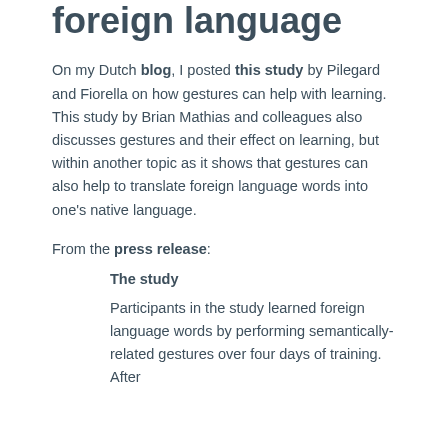foreign language
On my Dutch blog, I posted this study by Pilegard and Fiorella on how gestures can help with learning. This study by Brian Mathias and colleagues also discusses gestures and their effect on learning, but within another topic as it shows that gestures can also help to translate foreign language words into one's native language.
From the press release:
The study
Participants in the study learned foreign language words by performing semantically-related gestures over four days of training. After